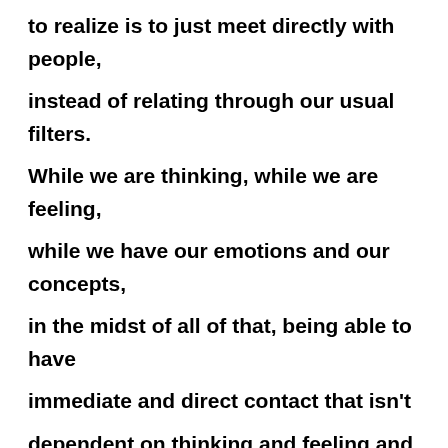to realize is to just meet directly with people, instead of relating through our usual filters. While we are thinking, while we are feeling, while we have our emotions and our concepts, in the midst of all of that, being able to have immediate and direct contact that isn't dependent on thinking and feeling and concepts. So the result is being able to, in a sense, plug in directly, with people, with nature, having that most profound oneness access that isn't dependent on thinking and that isn't dependent on feeling, and then that does open up within all of the thinking and all of the